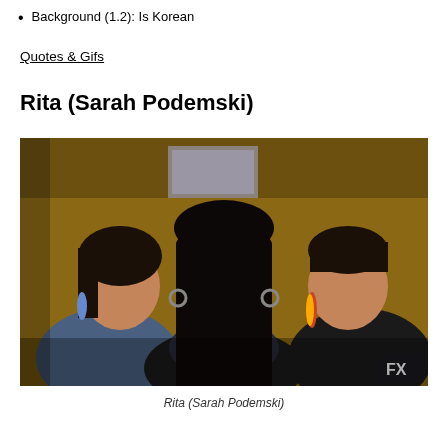Background (1.2): Is Korean
Quotes & Gifs
Rita (Sarah Podemski)
[Figure (photo): Three women standing together in what appears to be an indoor setting. The woman in the center has long dark hair and is wearing a black jacket. The woman on the left wears a denim jacket and the woman on the right also wears a dark jacket. An FX logo is visible in the bottom right corner.]
Rita (Sarah Podemski)